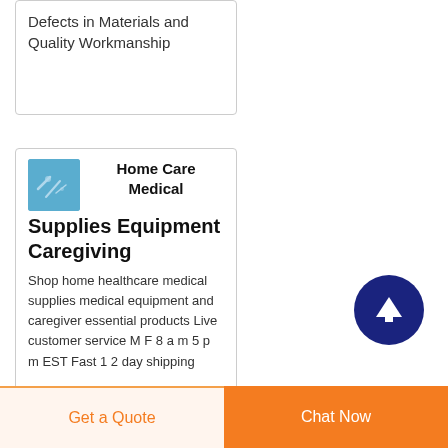Defects in Materials and Quality Workmanship
Home Care Medical Supplies Equipment Caregiving
Shop home healthcare medical supplies medical equipment and caregiver essential products Live customer service M F 8 a m 5 p m EST Fast 1 2 day shipping
[Figure (illustration): Blue square icon with abstract line design representing home care medical]
[Figure (other): Dark navy circular scroll-to-top button with upward arrow icon]
Get a Quote
Chat Now